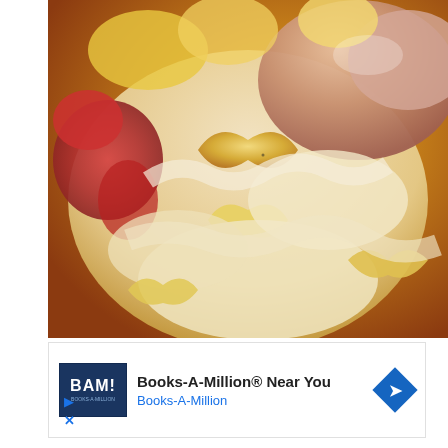[Figure (photo): Close-up macro photograph of pasta (bowtie/farfalle or shell pasta) covered in creamy cheese sauce with pieces of tomato and possibly bacon or ham, shot at very close range showing texture and color detail.]
[Figure (other): Advertisement banner for Books-A-Million featuring the BAM! logo (dark blue square with white text), headline 'Books-A-Million® Near You', subtitle 'Books-A-Million' in blue, and a blue diamond-shaped arrow icon on the right. Below are small play and close (X) control icons.]